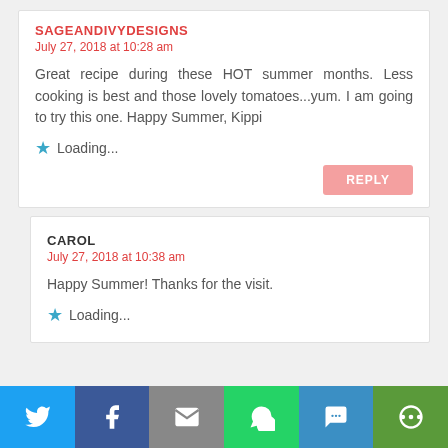SAGEANDIVYDESIGNS
July 27, 2018 at 10:28 am
Great recipe during these HOT summer months. Less cooking is best and those lovely tomatoes...yum. I am going to try this one. Happy Summer, Kippi
Loading...
CAROL
July 27, 2018 at 10:38 am
Happy Summer! Thanks for the visit.
Loading...